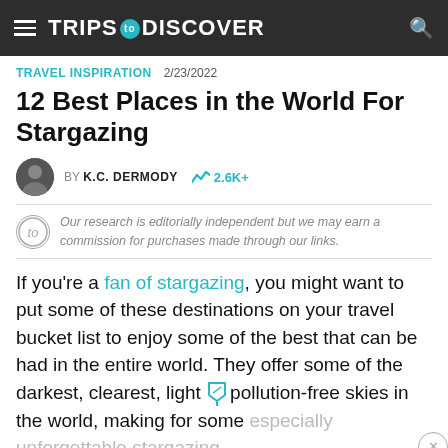TRIPS TO DISCOVER
TRAVEL INSPIRATION   2/23/2022
12 Best Places in the World For Stargazing
BY K.C. DERMODY   2.6K+
Our research is editorially independent but we may earn a commission for purchases made through our links.
If you're a fan of stargazing, you might want to put some of these destinations on your travel bucket list to enjoy some of the best that can be had in the entire world. They offer some of the darkest, clearest, light pollution-free skies in the world, making for some especially unforgettable stargazing.